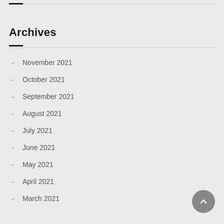Archives
→ November 2021
→ October 2021
→ September 2021
→ August 2021
→ July 2021
→ June 2021
→ May 2021
→ April 2021
→ March 2021